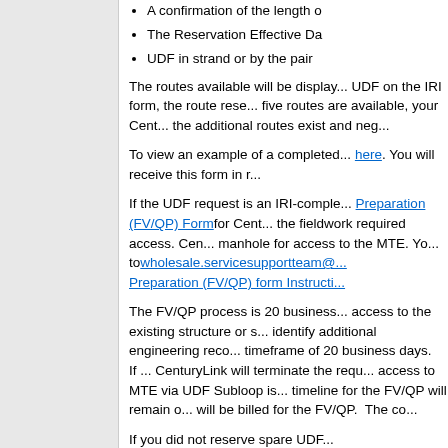A confirmation of the length o...
The Reservation Effective Da...
UDF in strand or by the pair
The routes available will be display... UDF on the IRI form, the route rese... five routes are available, your Cent... the additional routes exist and neg...
To view an example of a completed... here. You will receive this form in r...
If the UDF request is an IRI-comple... Preparation (FV/QP) Form for Cent... the fieldwork required access. Cen... manhole for access to the MTE. Yo... to wholesale.servicesupportteam@... Preparation (FV/QP) form Instructi...
The FV/QP process is 20 business... access to the existing structure or s... identify additional engineering reco... timeframe of 20 business days. If ... CenturyLink will terminate the requ... access to MTE via UDF Subloop is... timeline for the FV/QP will remain o... will be billed for the FV/QP. The co...
If you did not reserve spare UDF...